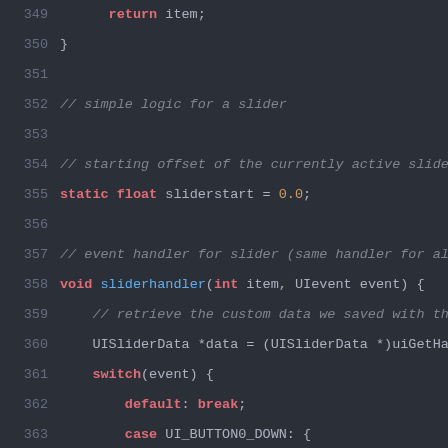Code listing lines 349–371, C source code with syntax highlighting on dark background. Shows slider handler logic including static float sliderstart, void sliderhandler function, switch/case for UI_BUTTON0_DOWN and UI_BUTTON0_CAPTURE events.